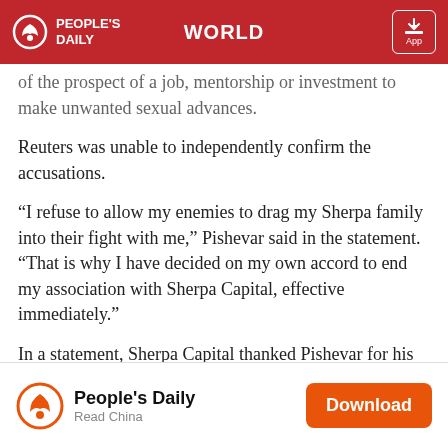PEOPLE'S DAILY | WORLD | App
of the prospect of a job, mentorship or investment to make unwanted sexual advances.
Reuters was unable to independently confirm the accusations.
“I refuse to allow my enemies to drag my Sherpa family into their fight with me,” Pishevar said in the statement. “That is why I have decided on my own accord to end my association with Sherpa Capital, effective immediately.”
In a statement, Sherpa Capital thanked Pishevar for his contributions to the firm and said it was “deeply committed to our culture of integrity, inclusion, and respect.”
People's Daily | Read China | Download